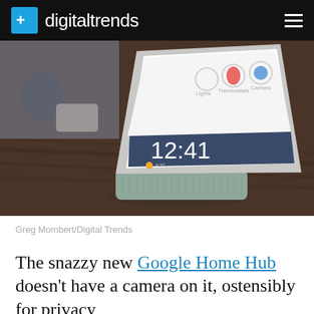digitaltrends
[Figure (photo): Google Home Hub smart display device sitting on a wooden table, showing a smart home interface with 12:41 time display]
Greg Mombert/Digital Trends
The snazzy new Google Home Hub doesn't have a camera on it, ostensibly for privacy